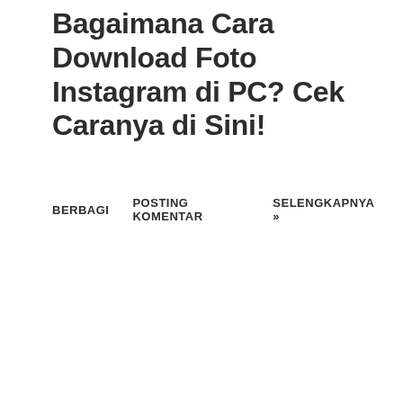Bagaimana Cara Download Foto Instagram di PC? Cek Caranya di Sini!
BERBAGI   POSTING KOMENTAR   SELENGKAPNYA »